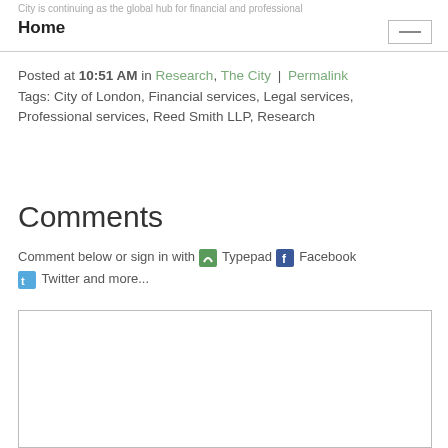City is continuing as the global hub for financial and professional services
Home
Posted at 10:51 AM in Research, The City | Permalink
Tags: City of London, Financial services, Legal services, Professional services, Reed Smith LLP, Research
Comments
Comment below or sign in with Typepad Facebook Twitter and more...
[Figure (other): Empty comment input text area]